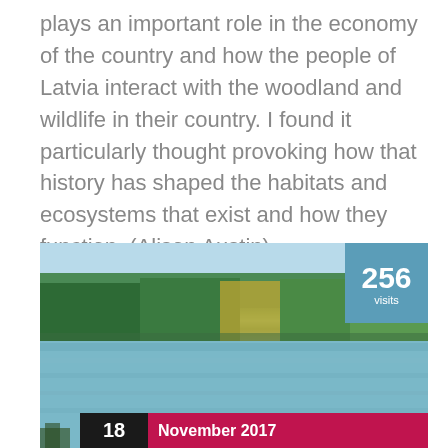plays an important role in the economy of the country and how the people of Latvia interact with the woodland and wildlife in their country. I found it particularly thought provoking how that history has shaped the habitats and ecosystems that exist and how they function. (Alison Austin)
[Figure (photo): Photograph of a lake surrounded by forest trees in autumn colors (green and yellow-gold), with a blue sky. An overlay badge in the top-right shows '256 visits' in white text on a steel-blue background. A bottom bar shows '18' on black background and 'November 2017' on a crimson/dark pink background.]